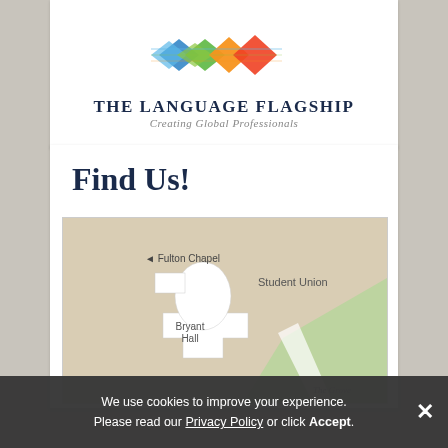[Figure (logo): The Language Flagship logo with colorful diamond/arrow shapes in blue, green, orange, and red. Text reads 'THE LANGUAGE FLAGSHIP' and 'Creating Global Professionals'.]
Find Us!
[Figure (map): Campus map showing Bryant Hall (white building shape) with Fulton Chapel to the left, Student Union to the upper right, and The Grove in the lower right. Tan/beige background with a green area in the lower right corner.]
We use cookies to improve your experience. Please read our Privacy Policy or click Accept.